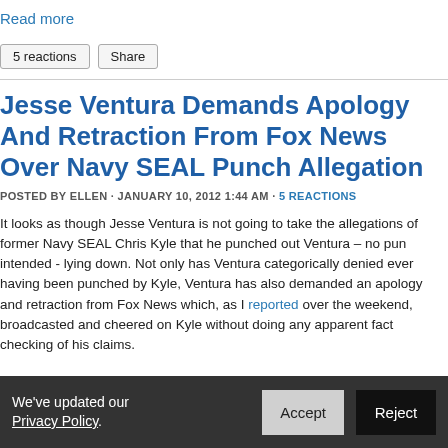Read more
5 reactions   Share
Jesse Ventura Demands Apology And Retraction From Fox News Over Navy SEAL Punch Allegation
POSTED BY ELLEN · JANUARY 10, 2012 1:44 AM · 5 REACTIONS
It looks as though Jesse Ventura is not going to take the allegations of former Navy SEAL Chris Kyle that he punched out Ventura – no pun intended - lying down. Not only has Ventura categorically denied ever having been punched by Kyle, Ventura has also demanded an apology and retraction from Fox News which, as I reported over the weekend, broadcasted and cheered on Kyle without doing any apparent fact checking of his claims.
We've updated our Privacy Policy.   Accept   Reject